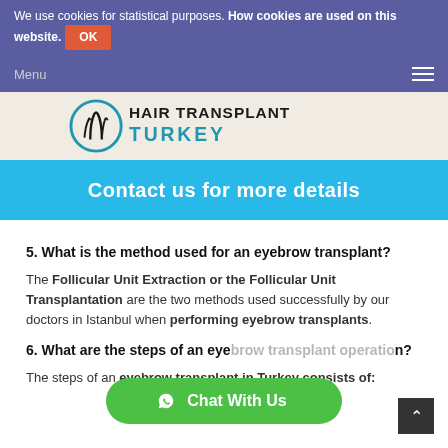We use cookies for statistical purposes. How cookies are used on this website. OK
[Figure (logo): Hair Transplant Turkey logo with circular hair follicle icon]
Contact us for more details
5. What is the method used for an eyebrow transplant?
The Follicular Unit Extraction or the Follicular Unit Transplantation are the two methods used successfully by our doctors in Istanbul when performing eyebrow transplants.
6. What are the steps of an eyebrow transplant operation?
The steps of an eyebrow transplant in Turkey consists of: